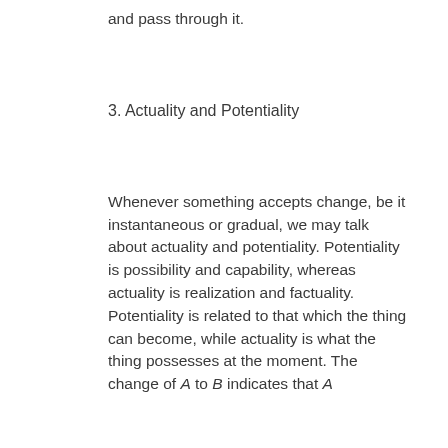and pass through it.
3. Actuality and Potentiality
Whenever something accepts change, be it instantaneous or gradual, we may talk about actuality and potentiality. Potentiality is possibility and capability, whereas actuality is realization and factuality. Potentiality is re-lated to that which the thing can become, while actuality is what the thing possesses at the moment. The change of A to B indicates that A